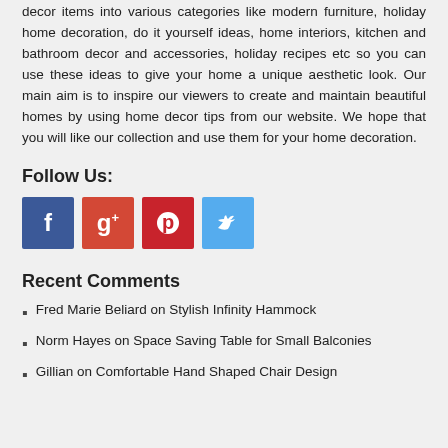decor items into various categories like modern furniture, holiday home decoration, do it yourself ideas, home interiors, kitchen and bathroom decor and accessories, holiday recipes etc so you can use these ideas to give your home a unique aesthetic look. Our main aim is to inspire our viewers to create and maintain beautiful homes by using home decor tips from our website. We hope that you will like our collection and use them for your home decoration.
Follow Us:
[Figure (infographic): Four social media icon buttons: Facebook (blue), Google+ (orange-red), Pinterest (red), Twitter (light blue)]
Recent Comments
Fred Marie Beliard on Stylish Infinity Hammock
Norm Hayes on Space Saving Table for Small Balconies
Gillian on Comfortable Hand Shaped Chair Design